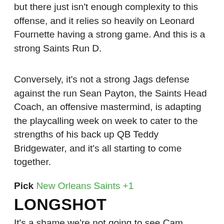but there just isn't enough complexity to this offense, and it relies so heavily on Leonard Fournette having a strong game. And this is a strong Saints Run D.
Conversely, it's not a strong Jags defense against the run Sean Payton, the Saints Head Coach, an offensive mastermind, is adapting the playcalling week on week to cater to the strengths of his back up QB Teddy Bridgewater, and it's all starting to come together.
Pick New Orleans Saints +1
LONGSHOT
It's a shame we're not going to see Cam Newton on Sunday, but the Panthers have an equally dynamic